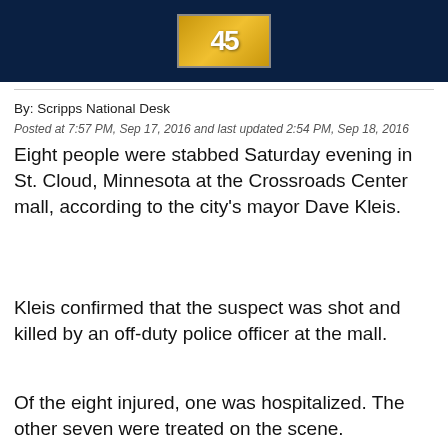[Figure (photo): Dark blue background image with a golden/yellow logo or graphic element in the center, resembling a news broadcast logo]
By: Scripps National Desk
Posted at 7:57 PM, Sep 17, 2016 and last updated 2:54 PM, Sep 18, 2016
Eight people were stabbed Saturday evening in St. Cloud, Minnesota at the Crossroads Center mall, according to the city's mayor Dave Kleis.
Kleis confirmed that the suspect was shot and killed by an off-duty police officer at the mall.
Of the eight injured, one was hospitalized. The other seven were treated on the scene.